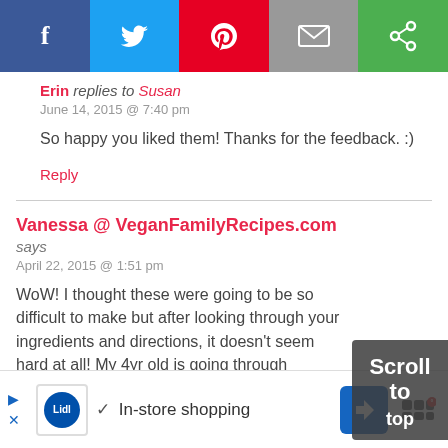[Figure (screenshot): Social share bar with Facebook, Twitter, Pinterest, Email, and another sharing icon buttons]
Erin replies to Susan
June 14, 2015 @ 7:40 pm
So happy you liked them! Thanks for the feedback. :)
Reply
Vanessa @ VeganFamilyRecipes.com says
April 22, 2015 @ 1:51 pm
WoW! I thought these were going to be so difficult to make but after looking through your ingredients and directions, it doesn't seem hard at all! My 4yr old is going through
[Figure (screenshot): Scroll to top overlay button]
[Figure (screenshot): Lidl advertisement bar with in-store shopping text at bottom of page]